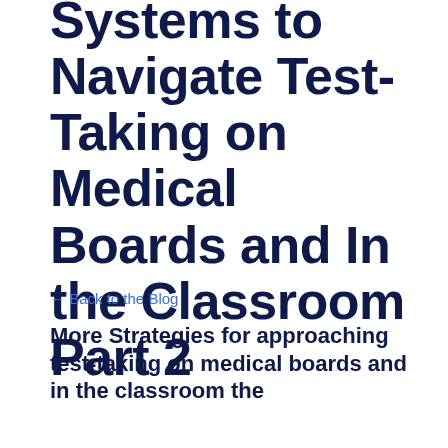Podcast: Creating Systems to Navigate Test-Taking on Medical Boards and In the Classroom Part 2
← Back to the Blog
More Strategies for approaching test-taking on medical boards and in the classroom the STEM dc...